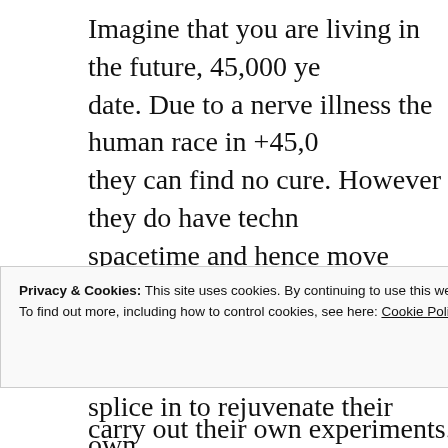Imagine that you are living in the future, 45,000 ye... date. Due to a nerve illness the human race in +45,0... they can find no cure. However they do have techn... spacetime and hence move back in time to try and s... retrieve some DNA from the past to try and work o... splice in to rejuvenate their own.
The plan having been formulated, they send a crew... spacetime to 1947. However when they reach earth... US military with microwaves and their “ET” craft c... thought they were attacking an advanced Nazi eart...
This of course is a disaster for the “ET’s” health pr...
Privacy & Cookies: This site uses cookies. By continuing to use this website, you agree to their use.
To find out more, including how to control cookies, see here: Cookie Policy
Close and accept
carry out their own experiments. The humans aro...